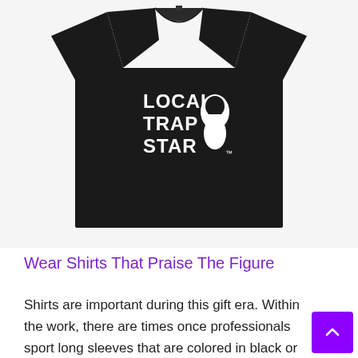[Figure (photo): A black t-shirt with 'LOCAL TRAP STAR' text and a masked figure logo printed in white on the front chest area, displayed on a white background.]
Wear Shirts That Praise The Figure
Shirts are important during this gift era. Within the work, there are times once professionals sport long sleeves that are colored in black or white. Whereas these colors look wonderful on all-male shapes